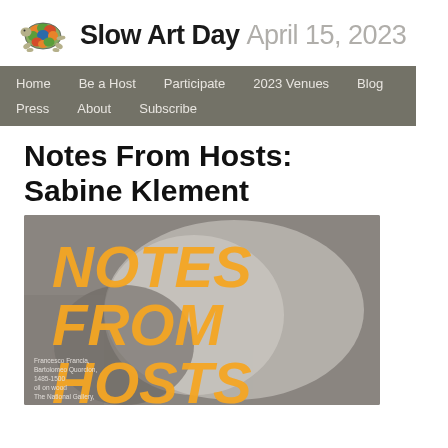Slow Art Day April 15, 2023
[Figure (logo): Slow Art Day turtle logo with colorful shell segments]
Home | Be a Host | Participate | 2023 Venues | Blog | Press | About | Subscribe
Notes From Hosts: Sabine Klement
[Figure (illustration): Promotional banner image with text 'NOTES FROM HOSTS' in orange italic bold letters overlaid on a grayscale painting. Small caption at bottom left reads: Francesco Francia, Bartolomeo Quorcion, 1485-1500, oil on wood, The National Gallery, London]